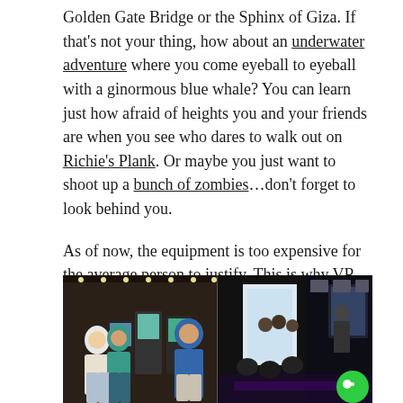Golden Gate Bridge or the Sphinx of Giza. If that's not your thing, how about an underwater adventure where you come eyeball to eyeball with a ginormous blue whale? You can learn just how afraid of heights you and your friends are when you see who dares to walk out on Richie's Plank. Or maybe you just want to shoot up a bunch of zombies…don't forget to look behind you.

As of now, the equipment is too expensive for the average person to justify. This is why VR arcades are going to be HUGE beginning in 2017.
[Figure (photo): Composite image showing two scenes: left half shows a retro arcade with people playing arcade game cabinets under string lights; right half shows a modern VR arcade space with people playing VR games in a dark room with purple lighting and screens. A green chat/support bubble icon is visible in the bottom right corner.]